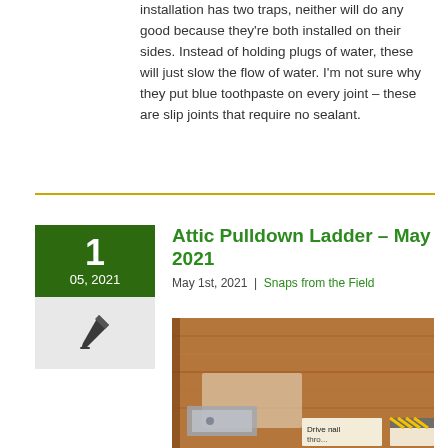installation has two traps, neither will do any good because they're both installed on their sides. Instead of holding plugs of water, these will just slow the flow of water. I'm not sure why they put blue toothpaste on every joint – these are slip joints that require no sealant.
Attic Pulldown Ladder – May 2021
May 1st, 2021 | Snaps from the Field
[Figure (photo): Photo of an attic pulldown ladder frame showing wood framing, metal hardware, and a label reading 'Drive nail thro...' at the bottom]